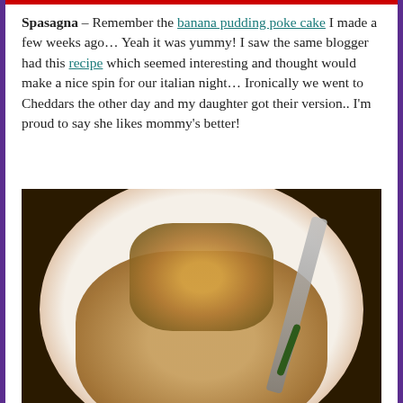Spasagna – Remember the banana pudding poke cake I made a few weeks ago… Yeah it was yummy! I saw the same blogger had this recipe which seemed interesting and thought would make a nice spin for our italian night… Ironically we went to Cheddars the other day and my daughter got their version.. I'm proud to say she likes mommy's better!
[Figure (photo): A plate of Spasagna - a casserole dish served on a white plate with rice, topped with layered pasta/cabbage mixture, with a fork visible on the right side and green vegetables.]